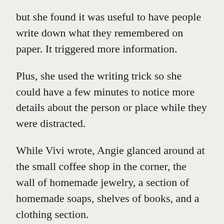but she found it was useful to have people write down what they remembered on paper. It triggered more information.
Plus, she used the writing trick so she could have a few minutes to notice more details about the person or place while they were distracted.
While Vivi wrote, Angie glanced around at the small coffee shop in the corner, the wall of homemade jewelry, a section of homemade soaps, shelves of books, and a clothing section.
“My mom hand makes the soaps and lotions in small batches,” Vivi said, sliding the notepad back over. “This is our store. I’m also a school counselor.”
“Ah, you look the part,” Angie said, mentally